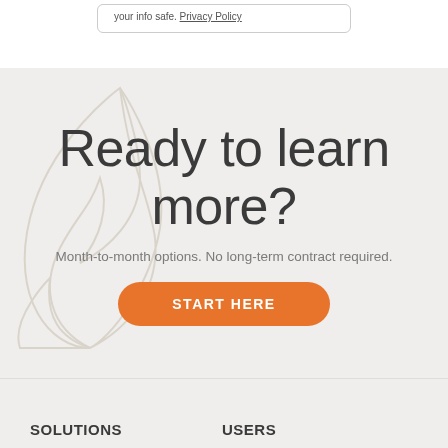your info safe. Privacy Policy
Ready to learn more?
Month-to-month options. No long-term contract required.
START HERE
SOLUTIONS
USERS